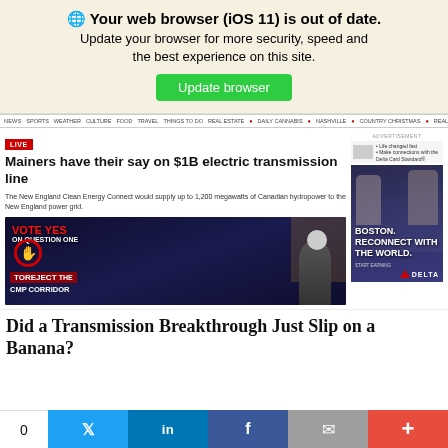🌐 Your web browser (iOS 11) is out of date. Update your browser for more security, speed and the best experience on this site.
Update browser
NEWS  SPORTS  WEATHER  CULTURE  FOOD  TRAVEL  THINGS TO DO  REAL ESTATE  • DAILY CANNABIS  • NASHVILLE  • COUNTRY CHRISTMAS  • REAL CRIME
LIVE
Mainers have their say on $1B electric transmission line
The New England Clean Energy Connect would supply up to 1,200 megawatts of Canadian hydropower to the New England power grid.
[Figure (photo): Protest scene with 'VOTE YES ON QUESTION ONE' sign and 'TO REJECT CMP CORRIDOR' text visible; person with white hair and sunglasses in foreground]
[Figure (photo): Delta Airlines advertisement with text 'BOSTON. RECONNECT WITH THE WORLD.' showing people at airport]
Did a Transmission Breakthrough Just Slip on a Banana?
0
Twitter share button
LinkedIn share button
Facebook share button
Email share button
+